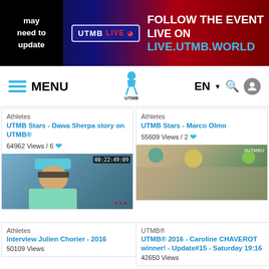[Figure (screenshot): UTMB website banner with 'may need to update' text on left, UTMB LIVE badge, and FOLLOW THE EVENT LIVE ON LIVE.UTMB.WORLD on right]
[Figure (screenshot): UTMB website navigation bar with hamburger menu, MENU text, UTMB Mont Blanc logo, EN language selector, search and user icons]
Athletes
UTMB Stars - Dawa Sherpa story on UTMB®
64962 Views / 6 ♥
[Figure (screenshot): Video thumbnail of athlete in blue cap and sunglasses with triathlon outfit, timestamp 00:22:49:09]
Athletes
UTMB Stars - Marco Olmo
55609 Views / 2 ♥
[Figure (screenshot): Video thumbnail of crowd scene at UTMB finish line with athletes and spectators]
Athletes
Interview Julien Chorier - 2016
50109 Views
UTMB®
UTMB® 2016 - Caroline CHAVEROT winner! - Update#15 - Saturday 19:16
42650 Views